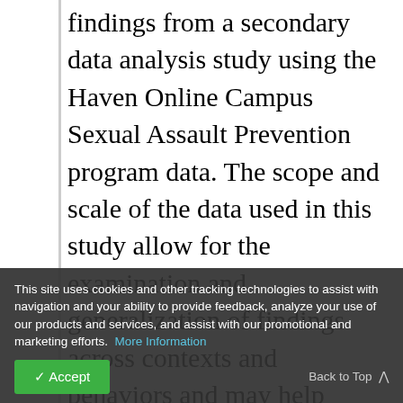findings from a secondary data analysis study using the Haven Online Campus Sexual Assault Prevention program data. The scope and scale of the data used in this study allow for the examination and generalization of findings across contexts and behaviors and may help identify student populations in greatest need of services and resources. In addition, prevalence estimates of campus sexual assault victimization and perpetration ... orientation sub-populations will be ... ed, and trends in perceptions of ...
This site uses cookies and other tracking technologies to assist with navigation and your ability to provide feedback, analyze your use of our products and services, and assist with our promotional and marketing efforts. More Information